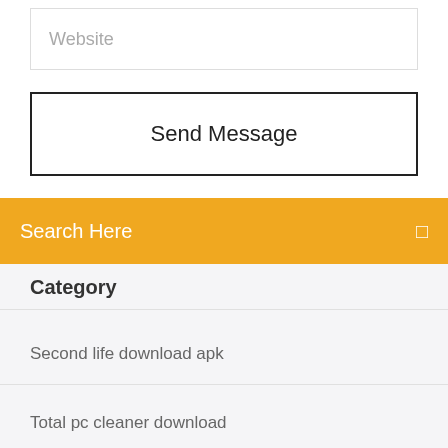Website
Send Message
Search Here
Category
Second life download apk
Total pc cleaner download
Is it necessary to download antivirus for android